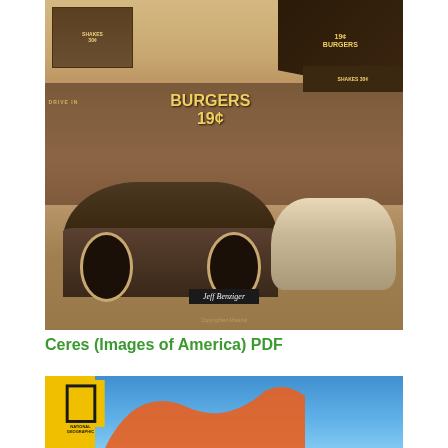[Figure (photo): Sepia-toned vintage photograph of a drive-in burger restaurant with signs reading 'Burgers 19¢' and 'Shakes 30¢'. A large dark vintage car from the 1940s-50s is parked in front, and another lighter colored car is visible to the right. The author name 'Jeff Benziger' appears on a dark label overlay, and 'Copyrighted Material' watermark is at the bottom.]
Ceres (Images of America) PDF
[Figure (photo): Bottom portion of another book cover with yellow background, National Geographic logo on the left, and blue sky with orange wavy shape visible.]